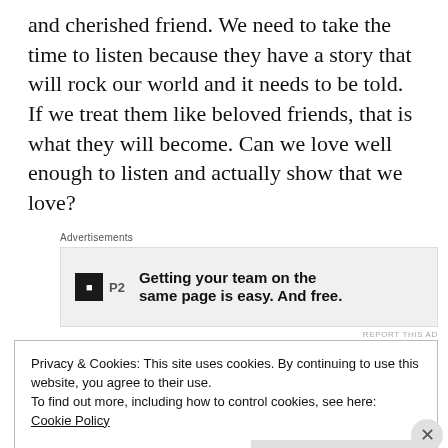and cherished friend. We need to take the time to listen because they have a story that will rock our world and it needs to be told. If we treat them like beloved friends, that is what they will become. Can we love well enough to listen and actually show that we love?
[Figure (other): Advertisement banner for P2 service: logo icon with 'P2' text and tagline 'Getting your team on the same page is easy. And free.']
Privacy & Cookies: This site uses cookies. By continuing to use this website, you agree to their use.
To find out more, including how to control cookies, see here:
Cookie Policy
Close and accept